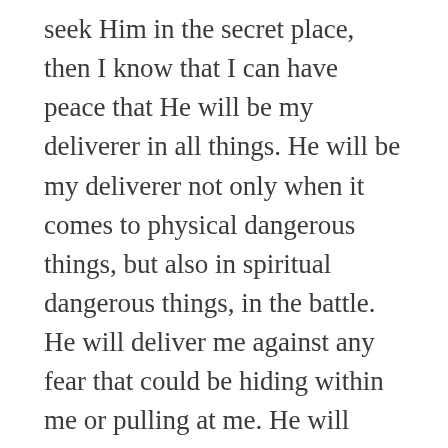seek Him in the secret place, then I know that I can have peace that He will be my deliverer in all things. He will be my deliverer not only when it comes to physical dangerous things, but also in spiritual dangerous things, in the battle. He will deliver me against any fear that could be hiding within me or pulling at me. He will deliver me from any “trap” that may be set up against me in this life. I know He will give me eyes to see and ears to hear when I ask for it. He is for me and not against me!
Thank you, Lord